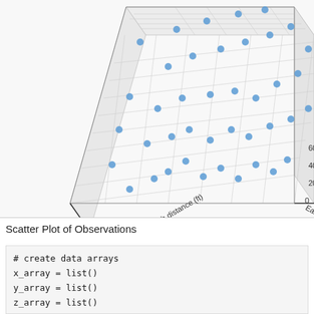[Figure (continuous-plot): 3D scatter plot showing observations with North-South distance (ft) on one horizontal axis (values from -80 to 0) and East-West distance on the other horizontal axis (values from 0 to 60), with scattered blue circle data points distributed across the 3D grid space.]
Scatter Plot of Observations
# create data arrays
x_array = list()
y_array = list()
z_array = list()
x_keys = list(heights_keys())